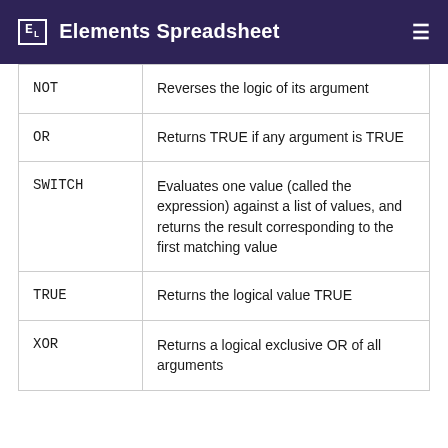Elements Spreadsheet
| Function | Description |
| --- | --- |
| NOT | Reverses the logic of its argument |
| OR | Returns TRUE if any argument is TRUE |
| SWITCH | Evaluates one value (called the expression) against a list of values, and returns the result corresponding to the first matching value |
| TRUE | Returns the logical value TRUE |
| XOR | Returns a logical exclusive OR of all arguments |